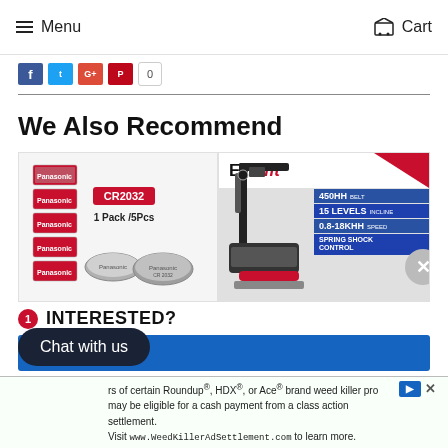Menu  Cart
[Figure (screenshot): Social media share icons row (Facebook, Twitter, Google+, Pinterest, and a share count button showing 0)]
We Also Recommend
[Figure (photo): Panasonic CR2032 battery product image - 1 Pack / 5Pcs, showing battery cells stacked and two coin batteries]
[Figure (photo): Everfit treadmill product image showing treadmill with specs: 450HH Belt, 15 Levels Incline, 0.8-18KHH Speed, Spring Shock Control]
INTERESTED?
Chat with us
rs of certain Roundup®, HDX®, or Ace® brand weed killer pro may be eligible for a cash payment from a class action settlement. Visit www.WeedKillerAdSettlement.com to learn more.